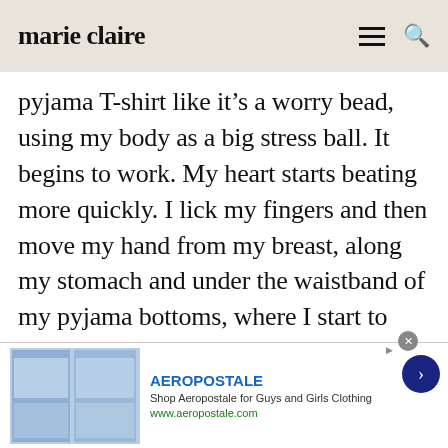marie claire
pyjama T-shirt like it’s a worry bead, using my body as a big stress ball. It begins to work. My heart starts beating more quickly. I lick my fingers and then move my hand from my breast, along my stomach and under the waistband of my pyjama bottoms, where I start to stroke the soft, warm space between my legs. My thumb finds my hardening clitoris, another finger slips inside myself, its wetness finding
[Figure (other): Aeropostale advertisement banner with clothing images, brand name, shop description, and website URL with navigation arrow]